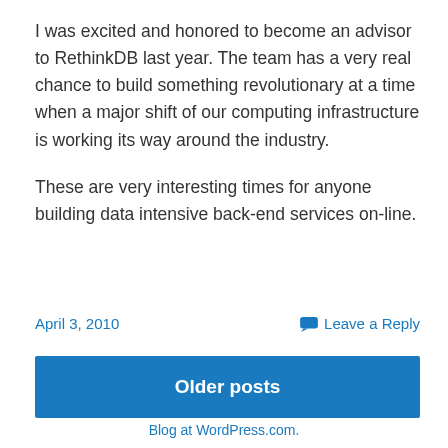I was excited and honored to become an advisor to RethinkDB last year. The team has a very real chance to build something revolutionary at a time when a major shift of our computing infrastructure is working its way around the industry.

These are very interesting times for anyone building data intensive back-end services on-line.
April 3, 2010
Leave a Reply
Older posts
View Full Site
Blog at WordPress.com.